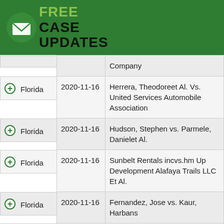FREE CASE UPDATES
| State | Date | Case |
| --- | --- | --- |
|  |  | Company |
| Florida | 2020-11-16 | Herrera, Theodoreet Al. Vs. United Services Automobile Association |
| Florida | 2020-11-16 | Hudson, Stephen vs. Parmele, Danielet Al. |
| Florida | 2020-11-16 | Sunbelt Rentals incvs.hm Up Development Alafaya Trails LLC Et Al. |
| Florida | 2020-11-16 | Fernandez, Jose vs. Kaur, Harbans |
| Florida | 2020-11-16 | Sierra, kimberlyvs.walmart Store East Ln. |